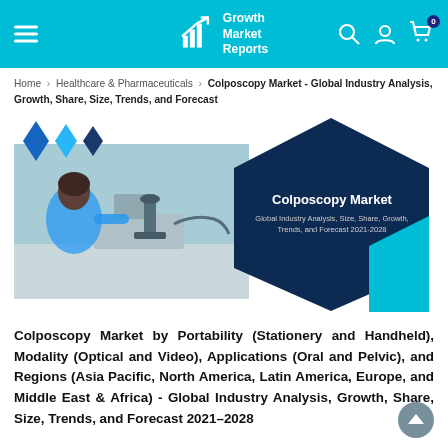Growth Market Reports
Home > Healthcare & Pharmaceuticals > Colposcopy Market - Global Industry Analysis, Growth, Share, Size, Trends, and Forecast
[Figure (illustration): Colposcopy Market report cover image showing a scientist using a microscope overlaid with a dark navy hexagon shape containing the text: Colposcopy Market - Global Industry Analysis, Size, Share, Growth, Trends, and Forecast 2021-2028, with decorative blue diamond shapes]
Colposcopy Market by Portability (Stationery and Handheld), Modality (Optical and Video), Applications (Oral and Pelvic), and Regions (Asia Pacific, North America, Latin America, Europe, and Middle East & Africa) - Global Industry Analysis, Growth, Share, Size, Trends, and Forecast 2021–2028